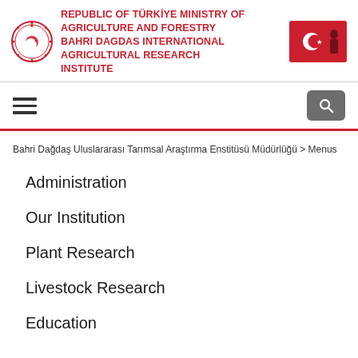REPUBLIC OF TÜRKİYE MINISTRY OF AGRICULTURE AND FORESTRY BAHRI DAGDAS INTERNATIONAL AGRICULTURAL RESEARCH INSTITUTE
Bahri Dağdaş Uluslararası Tarımsal Araştırma Enstitüsü Müdürlüğü > Menus
Administration
Our Institution
Plant Research
Livestock Research
Education